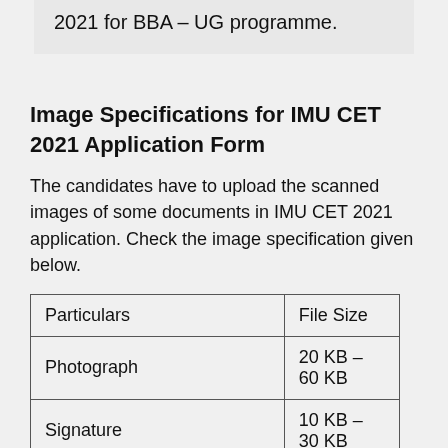2021 for BBA – UG programme.
Image Specifications for IMU CET 2021 Application Form
The candidates have to upload the scanned images of some documents in IMU CET 2021 application. Check the image specification given below.
| Particulars | File Size |
| --- | --- |
| Photograph | 20 KB – 60 KB |
| Signature | 10 KB – 30 KB |